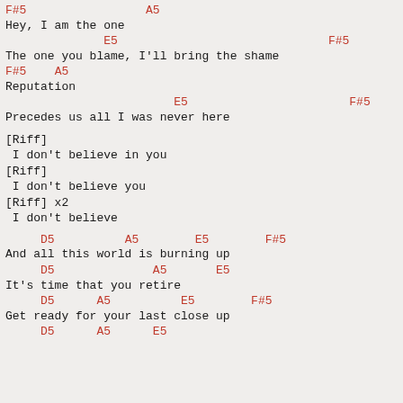F#5                    A5
Hey, I am the one
              E5                              F#5
The one you blame, I'll bring the shame
F#5    A5
Reputation
                        E5                       F#5
Precedes us all I was never here

[Riff]
 I don't believe in you
[Riff]
 I don't believe you
[Riff] x2
 I don't believe

     D5          A5        E5        F#5
And all this world is burning up
     D5              A5       E5
It's time that you retire
     D5      A5          E5        F#5
Get ready for your last close up
     D5      A5      E5